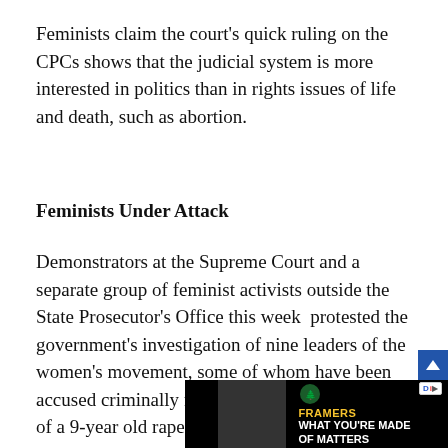Feminists claim the court's quick ruling on the CPCs shows that the judicial system is more interested in politics than in rights issues of life and death, such as abortion.
Feminists Under Attack
Demonstrators at the Supreme Court and a separate group of feminist activists outside the State Prosecutor's Office this week  protested the government's investigation of nine leaders of the women's movement, some of whom have been accused criminally for their role in the 2003 case of a 9-year old rape victim known as “Rosita.”
The girl became the poster child for therapeutic abortion after undergoing a life-saving operation to terminate her complicated pregnanc…
[Figure (other): Advertisement banner for Boise Cascade featuring a person in a hat and the text 'FRAMERS WHAT YOU'RE MADE OF MATTERS' with Boise Cascade logo]